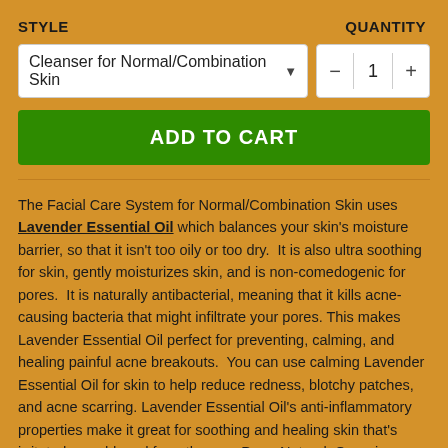STYLE
QUANTITY
Cleanser for Normal/Combination Skin
1
ADD TO CART
The Facial Care System for Normal/Combination Skin uses Lavender Essential Oil which balances your skin's moisture barrier, so that it isn't too oily or too dry. It is also ultra soothing for skin, gently moisturizes skin, and is non-comedogenic for pores. It is naturally antibacterial, meaning that it kills acne-causing bacteria that might infiltrate your pores. This makes Lavender Essential Oil perfect for preventing, calming, and healing painful acne breakouts. You can use calming Lavender Essential Oil for skin to help reduce redness, blotchy patches, and acne scarring. Lavender Essential Oil's anti-inflammatory properties make it great for soothing and healing skin that's irritated or reddened from the sun. Pure. Natural. Organic. Handmade.